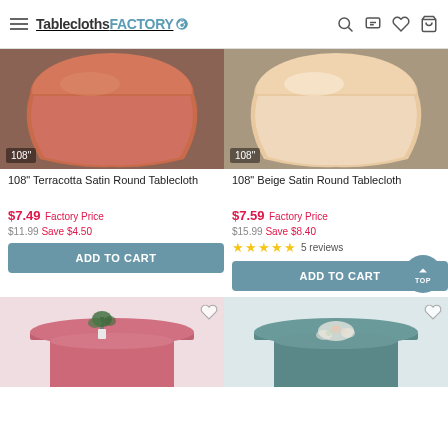TableclothsFACTORY
[Figure (photo): 108 inch terracotta satin round tablecloth on a round table, size badge '108"' at bottom left]
108" Terracotta Satin Round Tablecloth
$7.49 Factory Price
$11.99 Save $4.50
ADD TO CART
[Figure (photo): 108 inch beige satin round tablecloth on a round table, size badge '108"' at bottom left]
108" Beige Satin Round Tablecloth
$7.59 Factory Price
$15.99 Save $8.40
★★★★★ 5 reviews
ADD TO CART
[Figure (photo): Partial view of a pink/rose tablecloth with plant decoration on a round table]
[Figure (photo): Partial view of a teal/sage tablecloth with floral decoration on a round table]